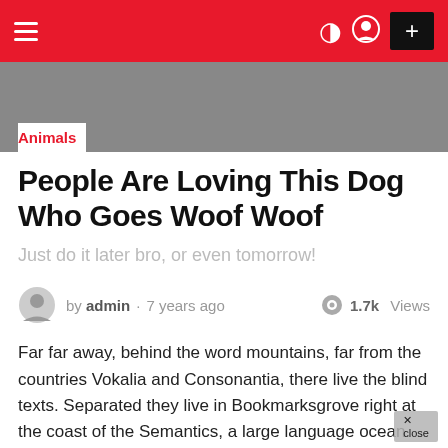≡  ) ⊙  +
[Figure (screenshot): Red navigation bar with hamburger menu, moon/user icons, and plus button]
Animals
People Are Loving This Dog Who Goes Woof Woof
Just do it later bro, or even tomorrow!
by admin · 7 years ago  1.7k Views
Far far away, behind the word mountains, far from the countries Vokalia and Consonantia, there live the blind texts. Separated they live in Bookmarksgrove right at the coast of the Semantics, a large language ocean.